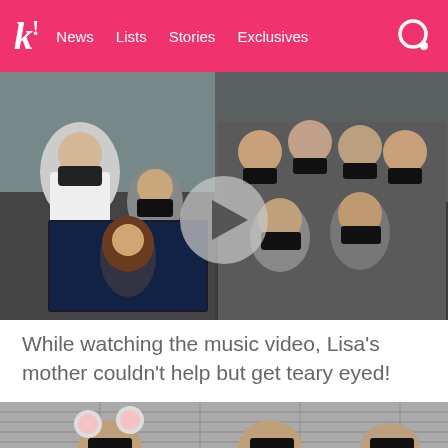k! News Lists Stories Exclusives
[Figure (photo): Group of people wearing black face masks watching something on a screen in a dark room; a video thumbnail of a woman with long brown hair is visible on a screen; a translucent play button overlay appears in the center]
While watching the music video, Lisa's mother couldn't help but get teary eyed!
[Figure (photo): Three people wearing black face masks seated; one person on the left has mouse ears/headband]